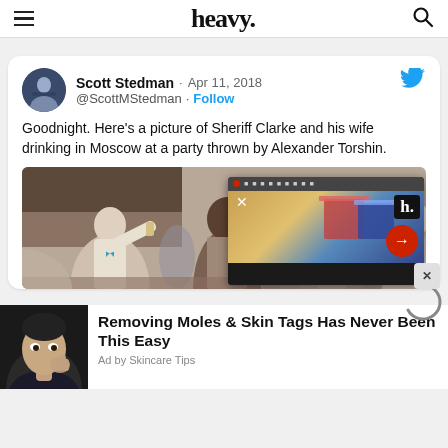heavy.
[Figure (screenshot): Embedded tweet from Scott Stedman (@ScottMSteadman), dated Apr 11, 2018, with text: 'Goodnight. Here's a picture of Sheriff Clarke and his wife drinking in Moscow at a party thrown by Alexander Torshin.' with a photo of people at a party, overlaid by a heavy.com ad popup with close button and arrow]
[Figure (photo): Bottom advertisement showing a man's face with text 'Removing Moles & Skin Tags Has Never Been This Easy' and label 'Ad by Skincare Tips']